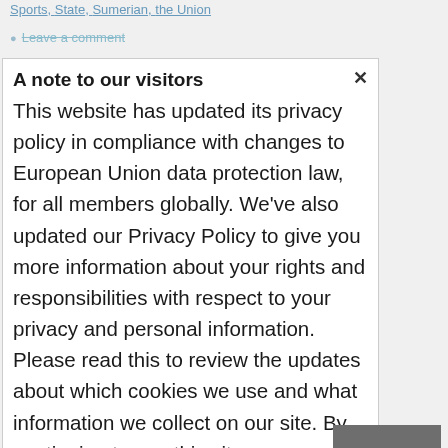Sports, State, Sumerian, the Union
Leave a comment
A note to our visitors
This website has updated its privacy policy in compliance with changes to European Union data protection law, for all members globally. We've also updated our Privacy Policy to give you more information about your rights and responsibilities with respect to your privacy and personal information. Please read this to review the updates about which cookies we use and what information we collect on our site. By continuing to use this site, you are agreeing to our updated privacy policy.
I agree
Search
1  2  3.  Next →
Search
Recent Posts